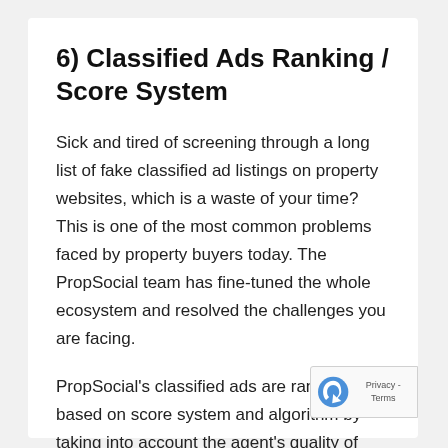6) Classified Ads Ranking / Score System
Sick and tired of screening through a long list of fake classified ad listings on property websites, which is a waste of your time? This is one of the most common problems faced by property buyers today. The PropSocial team has fine-tuned the whole ecosystem and resolved the challenges you are facing.
PropSocial's classified ads are ranked based on score system and algorithm by taking into account the agent's quality of services (rated by property buyers) and the quality of their ads. The ranking algorithm is based on multiple criteria.